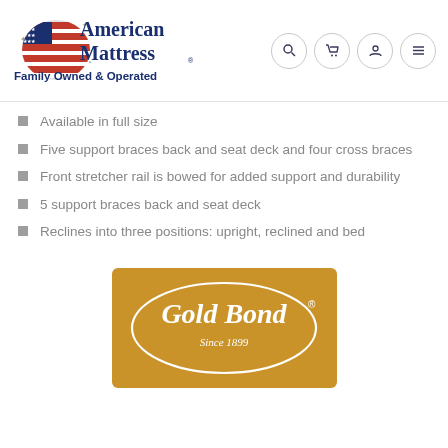[Figure (logo): American Mattress logo with US flag graphic and text 'Family Owned & Operated']
Available in full size
Five support braces back and seat deck and four cross braces
Front stretcher rail is bowed for added support and durability
5 support braces back and seat deck
Reclines into three positions: upright, reclined and bed
[Figure (logo): Gold Bond Since 1899 logo on golden/amber background with oval border]